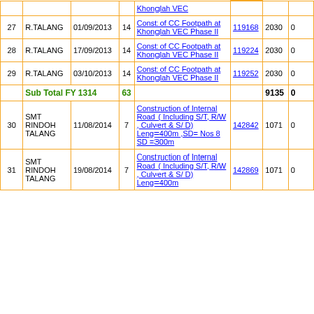| # | Location | Date | Ward | Description | MB No. | Amount | Col8 |
| --- | --- | --- | --- | --- | --- | --- | --- |
| 27 | R.TALANG | 01/09/2013 | 14 | Const of CC Footpath at Khonglah VEC Phase II | 119168 | 2030 | 0 |
| 28 | R.TALANG | 17/09/2013 | 14 | Const of CC Footpath at Khonglah VEC Phase II | 119224 | 2030 | 0 |
| 29 | R.TALANG | 03/10/2013 | 14 | Const of CC Footpath at Khonglah VEC Phase II | 119252 | 2030 | 0 |
| Sub Total FY 1314 |  |  | 63 |  |  | 9135 | 0 |
| 30 | SMT RINDOH TALANG | 11/08/2014 | 7 | Construction of Internal Road ( Including S/T, R/W , Culvert & S/ D) Leng=400m ,SD= Nos 8 SD =300m | 142842 | 1071 | 0 |
| 31 | SMT RINDOH TALANG | 19/08/2014 | 7 | Construction of Internal Road ( Including S/T, R/W , Culvert & S/ D) Leng=400m | 142869 | 1071 | 0 |